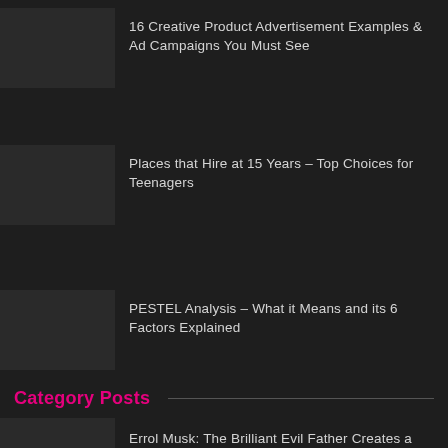16 Creative Product Advertisement Examples & Ad Campaigns You Must See
Places that Hire at 15 Years – Top Choices for Teenagers
PESTEL Analysis – What it Means and its 6 Factors Explained
Category Posts
Errol Musk: The Brilliant Evil Father Creates a